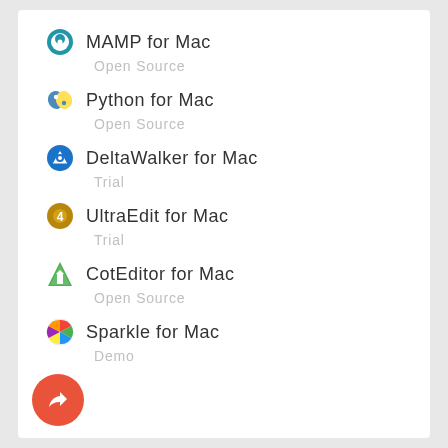MAMP for Mac
Open Source
Python for Mac
Open Source
DeltaWalker for Mac
Trial
UltraEdit for Mac
Trial
CotEditor for Mac
Open Source
Sparkle for Mac
Demo